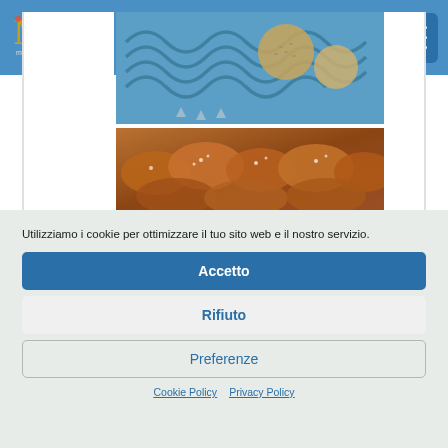[Figure (screenshot): Website header with blue background, stylized M logo on left and hamburger menu button on right]
[Figure (photo): Blue silicone baking tray with wavy pattern and round bread rolls]
[Figure (photo): Tray of powdered sugar-covered croissants]
Utilizziamo i cookie per ottimizzare il tuo sito web e il nostro servizio.
Accetto
Rifiuto
Preferenze
Cookie Policy  Privacy Policy